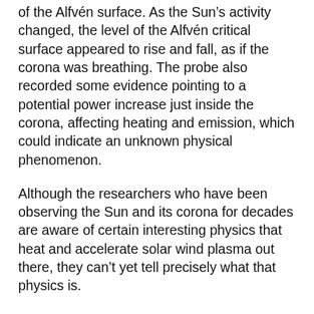of the Alfvén surface. As the Sun's activity changed, the level of the Alfvén critical surface appeared to rise and fall, as if the corona was breathing. The probe also recorded some evidence pointing to a potential power increase just inside the corona, affecting heating and emission, which could indicate an unknown physical phenomenon.
Although the researchers who have been observing the Sun and its corona for decades are aware of certain interesting physics that heat and accelerate solar wind plasma out there, they can't yet tell precisely what that physics is.
The new findings, obtained through direct observations of the spacecraft, show that there is much to be shed light on about the physics of coronal heating and solar wind formation. Having achieved its